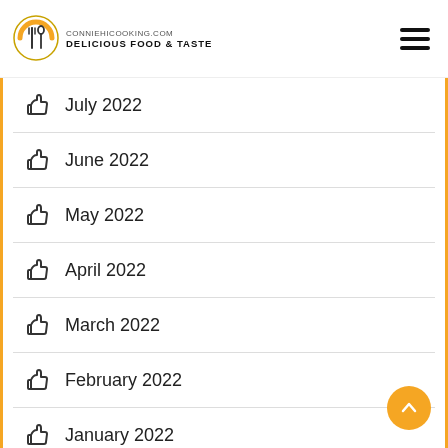conniehicooking.com DELICIOUS FOOD & TASTE
July 2022
June 2022
May 2022
April 2022
March 2022
February 2022
January 2022
December 2021